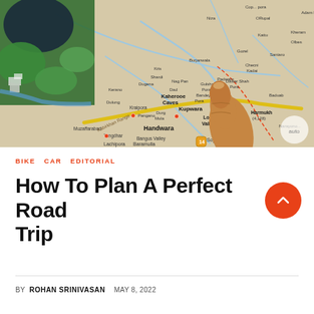[Figure (photo): A hand pointing at a road map of the Kashmir region of India, showing locations such as Handwara, Kupwara, Baramulla, Lachipora WLS, Lolab Valley, Harmukh, Muzaffarabad, Tangdhar, Bangus Valley, Sopore, and surrounding areas. The top-left corner shows an aerial satellite view with green terrain and water. The map has a beige background with labeled towns and roads.]
BIKE  CAR  EDITORIAL
How To Plan A Perfect Road Trip
BY ROHAN SRINIVASAN   MAY 8, 2022